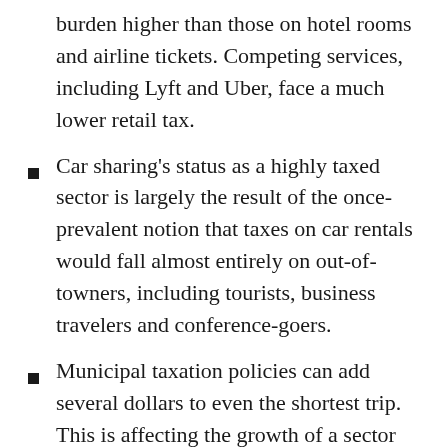burden higher than those on hotel rooms and airline tickets. Competing services, including Lyft and Uber, face a much lower retail tax.
Car sharing's status as a highly taxed sector is largely the result of the once-prevalent notion that taxes on car rentals would fall almost entirely on out-of-towners, including tourists, business travelers and conference-goers.
Municipal taxation policies can add several dollars to even the shortest trip. This is affecting the growth of a sector that has long been recognized to bring significant benefits to communities.